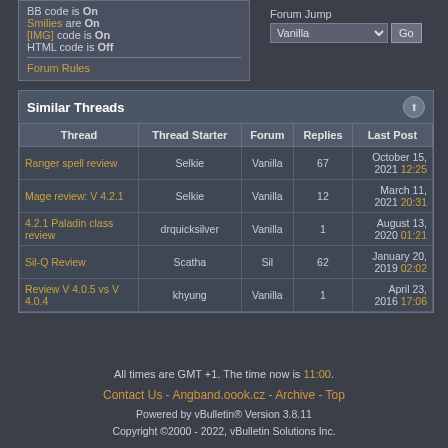BB code is On
Smilies are On
[IMG] code is On
HTML code is Off
Forum Rules
Forum Jump
Vanilla  Go
Similar Threads
| Thread | Thread Starter | Forum | Replies | Last Post |
| --- | --- | --- | --- | --- |
| Ranger spell review | Selkie | Vanilla | 67 | October 15, 2021 12:25 |
| Mage review: V 4.2.1 | Selkie | Vanilla | 12 | March 11, 2021 20:31 |
| 4.2.1 Paladin class review | drquicksilver | Vanilla | 1 | August 13, 2020 01:21 |
| Sil-Q Review | Scatha | Sil | 62 | January 20, 2019 02:02 |
| Review V 4.0.5 vs V 4.0.4 | khyung | Vanilla | 1 | April 23, 2016 17:06 |
All times are GMT +1. The time now is 11:00.
Contact Us - Angband.oook.cz - Archive - Top
Powered by vBulletin® Version 3.8.11
Copyright ©2000 - 2022, vBulletin Solutions Inc.